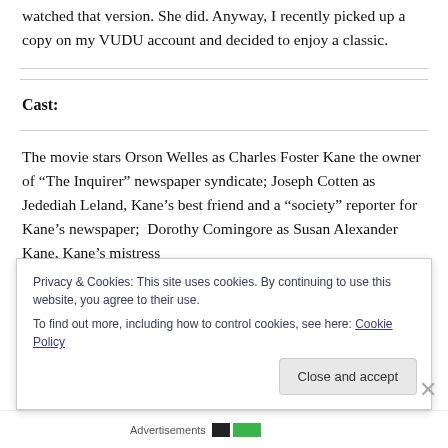watched that version.  She did.  Anyway, I recently picked up a copy on my VUDU account and decided to enjoy a classic.
Cast:
The movie stars Orson Welles as Charles Foster Kane the owner of “The Inquirer” newspaper syndicate; Joseph Cotten as Jedediah Leland, Kane’s best friend and a “society” reporter for Kane’s newspaper;  Dorothy Comingore as Susan Alexander Kane, Kane’s mistress
Privacy & Cookies: This site uses cookies. By continuing to use this website, you agree to their use.
To find out more, including how to control cookies, see here: Cookie Policy
Close and accept
Advertisements